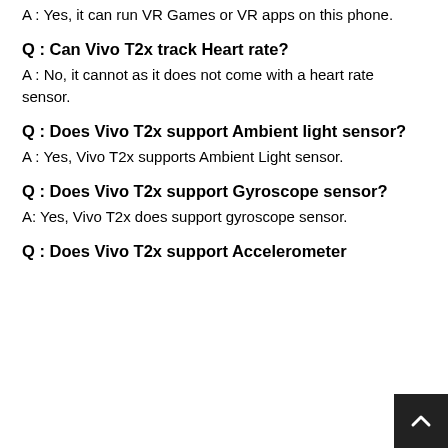A : Yes, it can run VR Games or VR apps on this phone.
Q : Can Vivo T2x track Heart rate?
A : No, it cannot as it does not come with a heart rate sensor.
Q : Does Vivo T2x support Ambient light sensor?
A : Yes, Vivo T2x supports Ambient Light sensor.
Q : Does Vivo T2x support Gyroscope sensor?
A: Yes, Vivo T2x does support gyroscope sensor.
Q : Does Vivo T2x support Accelerometer